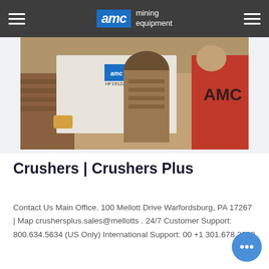AMC mining equipment
[Figure (photo): Workers at a mining site examining an AMC mining equipment piece labeled HF191227, with AMC branding visible on machinery in background.]
Crushers | Crushers Plus
Contact Us Main Office. 100 Mellott Drive Warfordsburg, PA 17267 | Map crushersplus.sales@mellotts . 24/7 Customer Support: 800.634.5634 (US Only) International Support: 00 +1 301.678.2000